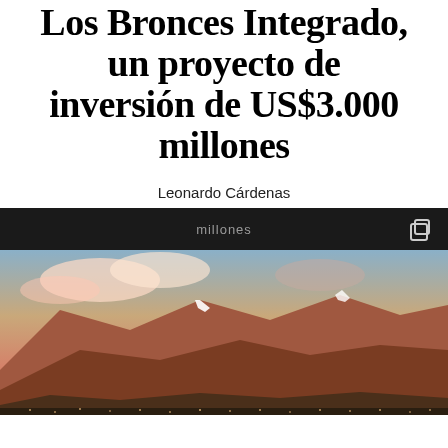Los Bronces Integrado, un proyecto de inversión de US$3.000 millones
Leonardo Cárdenas
[Figure (photo): Aerial panoramic photo of a mountain range (likely the Andes near Santiago, Chile) at sunset/dusk with warm orange and purple tones, snow-capped peak, rugged terrain, and a city visible at the base of the mountains.]